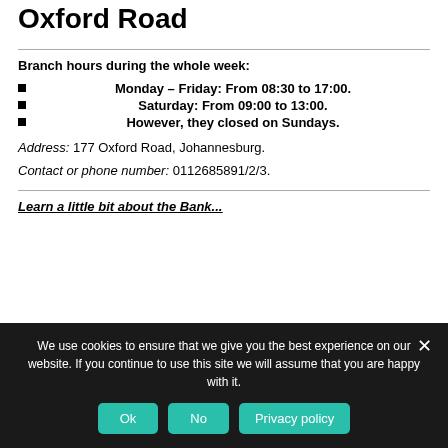Oxford Road
Branch hours during the whole week:
Monday – Friday: From 08:30 to 17:00.
Saturday: From 09:00 to 13:00.
However, they closed on Sundays.
Address: 177 Oxford Road, Johannesburg.
Contact or phone number: 0112685891/2/3.
Learn a little bit about the Bank...
We use cookies to ensure that we give you the best experience on our website. If you continue to use this site we will assume that you are happy with it.